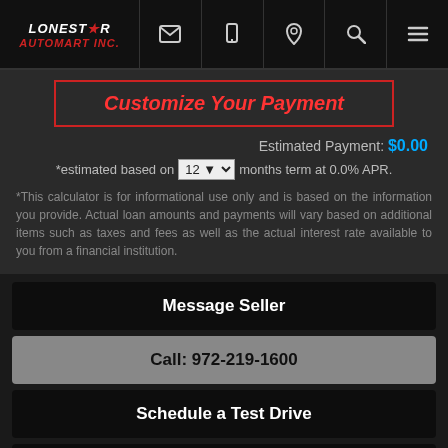Lonestar Automart Inc. — navigation header with logo and icons
Customize Your Payment
Estimated Payment: $0.00
*estimated based on 12 months term at 0.0% APR.
*This calculator is for informational use only and is based on the information you provide. Actual loan amounts and payments will vary based on additional items such as taxes and fees as well as the actual interest rate available to you from a financial institution.
Message Seller
Call: 972-219-1600
Schedule a Test Drive
Get Directions
Print eBrochure
Get Approved